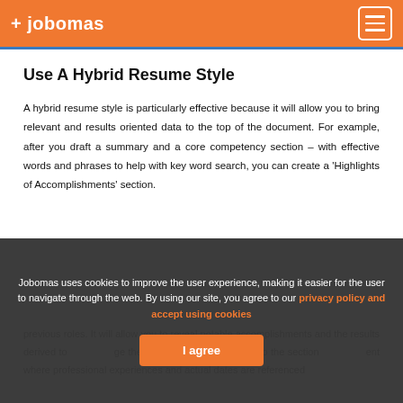+ jobomas
Use A Hybrid Resume Style
A hybrid resume style is particularly effective because it will allow you to bring relevant and results oriented data to the top of the document. For example, after you draft a summary and a core competency section – with effective words and phrases to help with key word search, you can create a 'Highlights of Accomplishments' section.
Jobomas uses cookies to improve the user experience, making it easier for the user to navigate through the web. By using our site, you agree to our privacy policy and accept using cookies
I agree